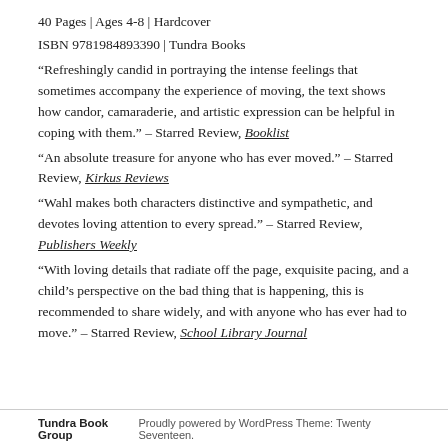40 Pages | Ages 4-8 | Hardcover
ISBN 9781984893390 | Tundra Books
“Refreshingly candid in portraying the intense feelings that sometimes accompany the experience of moving, the text shows how candor, camaraderie, and artistic expression can be helpful in coping with them.” – Starred Review, Booklist
“An absolute treasure for anyone who has ever moved.” – Starred Review, Kirkus Reviews
“Wahl makes both characters distinctive and sympathetic, and devotes loving attention to every spread.” – Starred Review, Publishers Weekly
“With loving details that radiate off the page, exquisite pacing, and a child’s perspective on the bad thing that is happening, this is recommended to share widely, and with anyone who has ever had to move.” – Starred Review, School Library Journal
Tundra Book Group    Proudly powered by WordPress Theme: Twenty Seventeen.